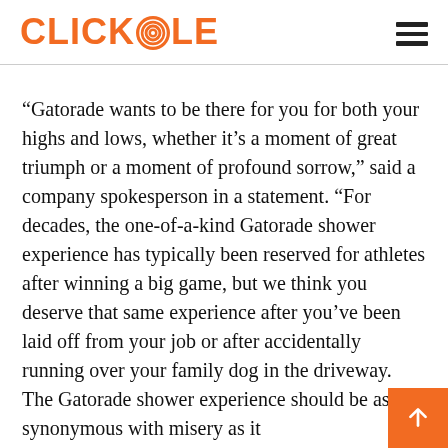CLICKHOLE
“Gatorade wants to be there for you for both your highs and lows, whether it’s a moment of great triumph or a moment of profound sorrow,” said a company spokesperson in a statement. “For decades, the one-of-a-kind Gatorade shower experience has typically been reserved for athletes after winning a big game, but we think you deserve that same experience after you’ve been laid off from your job or after accidentally running over your family dog in the driveway. The Gatorade shower experience should be as synonymous with misery as it